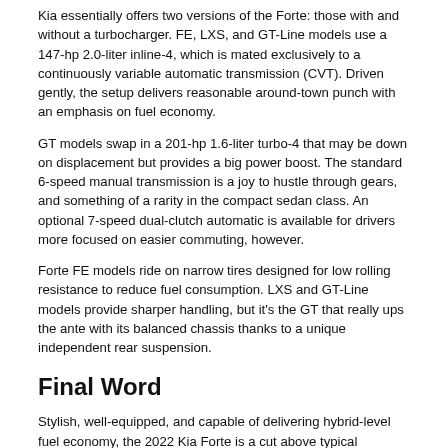Kia essentially offers two versions of the Forte: those with and without a turbocharger. FE, LXS, and GT-Line models use a 147-hp 2.0-liter inline-4, which is mated exclusively to a continuously variable automatic transmission (CVT). Driven gently, the setup delivers reasonable around-town punch with an emphasis on fuel economy.
GT models swap in a 201-hp 1.6-liter turbo-4 that may be down on displacement but provides a big power boost. The standard 6-speed manual transmission is a joy to hustle through gears, and something of a rarity in the compact sedan class. An optional 7-speed dual-clutch automatic is available for drivers more focused on easier commuting, however.
Forte FE models ride on narrow tires designed for low rolling resistance to reduce fuel consumption. LXS and GT-Line models provide sharper handling, but it's the GT that really ups the ante with its balanced chassis thanks to a unique independent rear suspension.
Final Word
Stylish, well-equipped, and capable of delivering hybrid-level fuel economy, the 2022 Kia Forte is a cut above typical compact cars.
—by Andrew Ganz, with driving impressions from The Car Connection